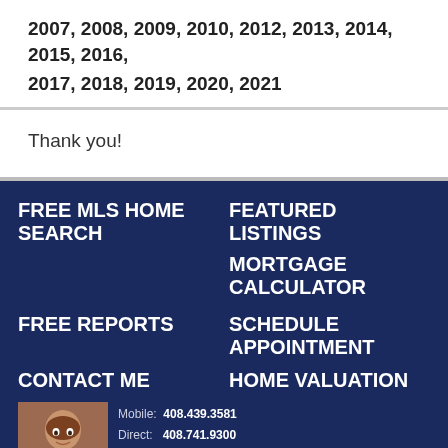2007, 2008, 2009, 2010, 2012, 2013, 2014, 2015, 2016, 2017, 2018, 2019, 2020, 2021
Thank you!
FREE MLS HOME SEARCH
FEATURED LISTINGS
MORTGAGE CALCULATOR
FREE REPORTS
SCHEDULE APPOINTMENT
CONTACT ME
HOME VALUATION
Mobile: 408.439.3581
Direct: 408.741.9300
Info@SiliconValleyRealEstate.T...